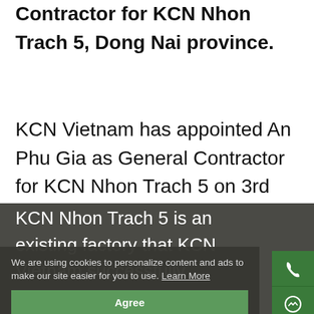Contractor for KCN Nhon Trach 5, Dong Nai province.
KCN Vietnam has appointed An Phu Gia as General Contractor for KCN Nhon Trach 5 on 3rd January 2022 after the tendering process opened last month.
KCN Nhon Trach 5 is an existing factory that KCN Vietnam successfully acquired in late December 2021. Situated on approximately 7... of land, KCN Nhon Trach 5 will deliver 42,000 sqm of exceptional sustainable ready-built factories to the market in March 2022. At th...
We are using cookies to personalize content and ads to make our site easier for you to use. Learn More
Agree